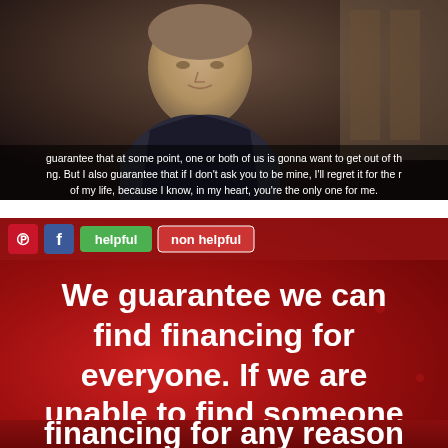[Figure (screenshot): Movie scene screenshot showing a man with subtitles reading: 'guarantee that at some point, one or both of us is gonna want to get out of th... ng. But I also guarantee that if I don't ask you to be mine, I'll regret it for the r... of my life, because I know, in my heart, you're the only one for me.']
[Figure (infographic): Red background image with social sharing buttons (Pinterest, Facebook), helpful/non helpful buttons, and large white bold text reading: 'We guarantee we can find financing for everyone. If we are unable to find someone financing for any reason']